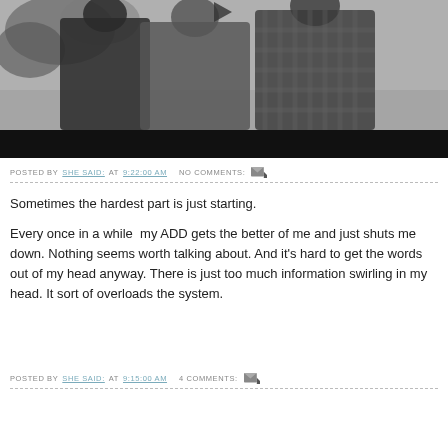[Figure (photo): Black and white photo of people outdoors, partially cropped, with a dark bar at the bottom and a play arrow icon at the top center]
POSTED BY SHE SAID: AT 9:22:00 AM   NO COMMENTS:
Sometimes the hardest part is just starting.
Every once in a while  my ADD gets the better of me and just shuts me down. Nothing seems worth talking about. And it's hard to get the words out of my head anyway. There is just too much information swirling in my head. It sort of overloads the system.
POSTED BY SHE SAID: AT 9:15:00 AM   4 COMMENTS: